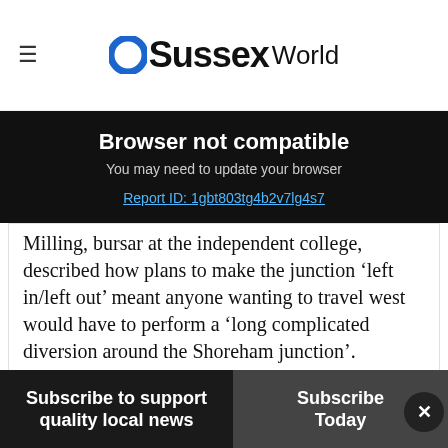OSussexWorld
Browser not compatible
You may need to update your browser
Report ID: 1gbt803tg4b2v7lg4s7
Milling, bursar at the independent college, described how plans to make the junction ‘left in/left out’ meant anyone wanting to travel west would have to perform a ‘long complicated diversion around the Shoreham junction’.
Mr Milling said that, as well as adding extra
Subscribe to support quality local news
Subscribe Today